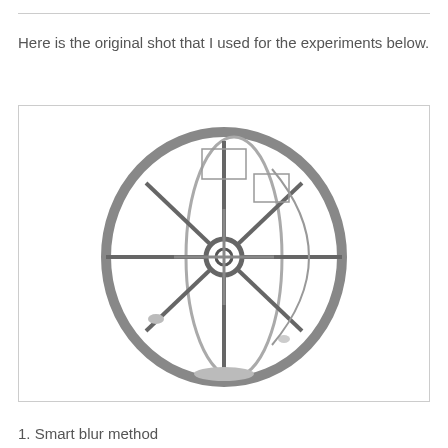Here is the original shot that I used for the experiments below.
[Figure (photo): Black and white sketch/threshold image of an old wagon wheel or mechanical wheel with spokes, hub, and rim, photographed from a slight angle showing the face of the wheel with intricate structural details.]
1.  Smart blur method